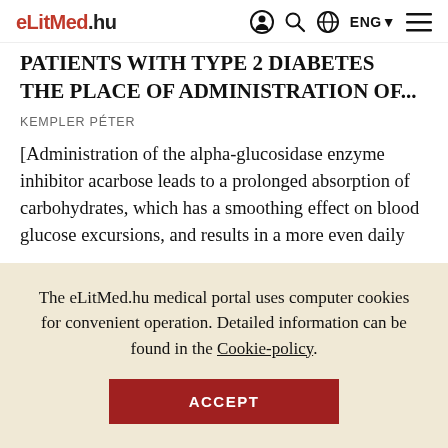eLitMed.hu — navigation bar with user icon, search icon, globe/ENG selector, and hamburger menu
PATIENTS WITH TYPE 2 DIABETES THE PLACE OF ADMINISTRATION OF...
KEMPLER Péter
[Administration of the alpha-glucosidase enzyme inhibitor acarbose leads to a prolonged absorption of carbohydrates, which has a smoothing effect on blood glucose excursions, and results in a more even daily
The eLitMed.hu medical portal uses computer cookies for convenient operation. Detailed information can be found in the Cookie-policy.
ACCEPT